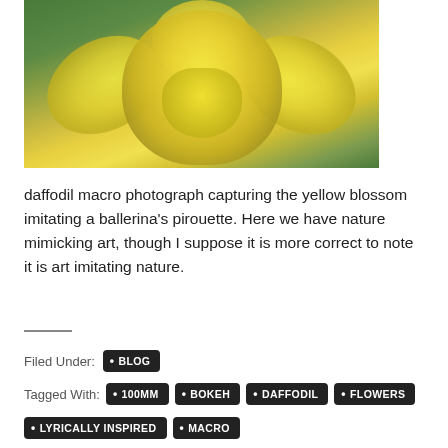[Figure (photo): Macro photograph of a yellow daffodil blossom against a blurred green background, showing the flower petals spread out resembling a ballerina's pirouette.]
daffodil macro photograph capturing the yellow blossom imitating a ballerina's pirouette. Here we have nature mimicking art, though I suppose it is more correct to note it is art imitating nature.
Filed Under: BLOG
Tagged With: 100MM • BOKEH • DAFFODIL • FLOWERS
LYRICALLY INSPIRED • MACRO